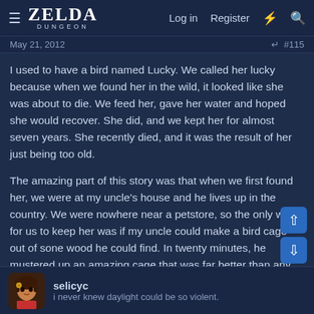≡ ZELDA DUNGEON   Log in   Register
May 21, 2012   #115
I used to have a bird named Lucky. We called her lucky because when we found her in the wild, it looked like she was about to die. We feed her, gave her water and hoped she would recover. She did, and we kept her for almost seven years. She recently died, and it was the result of her just being too old.

The amazing part of this story was that when we first found her, we were at my uncle's house and he lives up in the country. We were nowhere near a petstore, so the only way for us to keep her was if my uncle could make a bird cage out of sone wood he could find. In twenty minutes, he mustered up an amazing cage that was far better than any cage a store would sell. It was an amazing event to watch.
selicyc
i never knew daylight could be so violent.